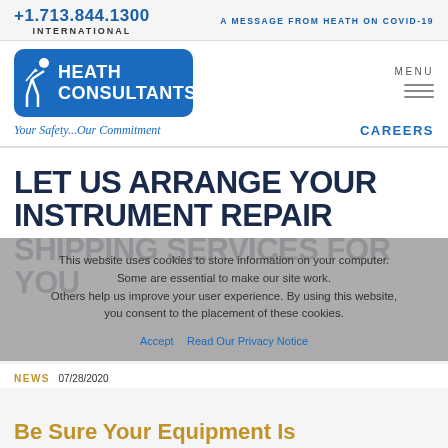+1.713.844.1300 INTERNATIONAL | A MESSAGE FROM HEATH ON COVID-19
[Figure (logo): Heath Consultants logo — blue rounded rectangle with stylized figure and company name]
MENU (hamburger icon)
Your Safety...Our Commitment
CAREERS
LET US ARRANGE YOUR INSTRUMENT REPAIR SHIPPING SERVICES FOR YOU
This website uses cookies to store information on your computer. Some are essential to make our site work. Others help us improve your user experience. By using this website, you consent to the placement of these cookies.
Accept   Read Our Privacy Notice
NEWS 07/28/2020
Be Sure Your Equipment Is